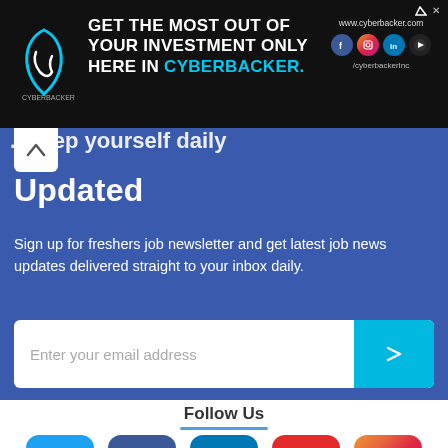[Figure (other): Cyberbacker advertisement banner with logo, text 'GET THE MOST OUT OF YOUR INVESTMENT ONLY HERE IN CYBERBACKER.' and social media icons, URL www.cyberbacker.com]
Updated
Sign up for freshers job newsletter and get latest job news updates delivered straight to your inbox daily.
Enter your email address
Follow Us
[Figure (infographic): Social media icons row: Twitter (blue), Facebook (dark blue), LinkedIn (blue), YouTube (red), Instagram (gradient)]